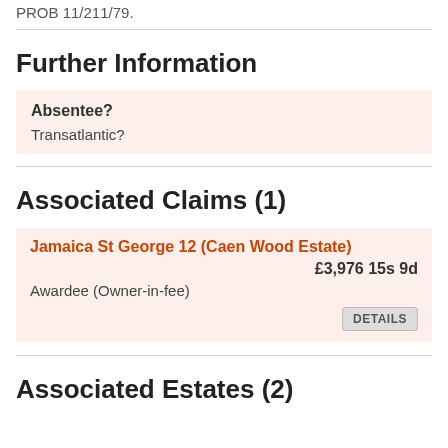PROB 11/211/79.
Further Information
| Absentee? |
| --- |
| Transatlantic? |
Associated Claims (1)
Jamaica St George 12 (Caen Wood Estate)
£3,976 15s 9d
Awardee (Owner-in-fee)
DETAILS
Associated Estates (2)